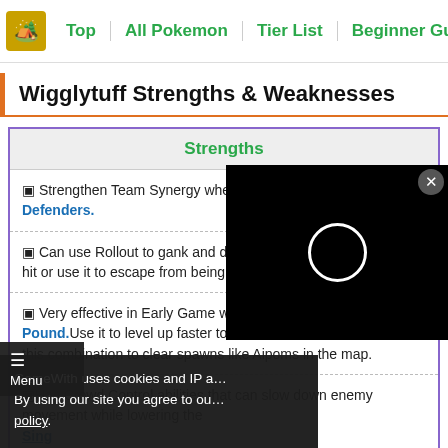Top | All Pokemon | Tier List | Beginner Guide | Held I...
Wigglytuff Strengths & Weaknesses
Strengths
Strengthen Team Synergy when paired with Attackers and Defenders.
Can use Rollout to gank and deal damage to enemies when hit or use it to escape from being chased down.
Very effective in Early Game with its high damaged Pound. Use it to level up faster to unlock Defense Curl and use this combination to clear spawns like Aipoms in the map.
Has Crowd Control abilities that can slow down enemy movement while lowering the... Sing
GameWith uses cookies and IP a... By using our site you agree to ou... policy.
[Figure (screenshot): Video player overlay loading spinner (white circle on black background)]